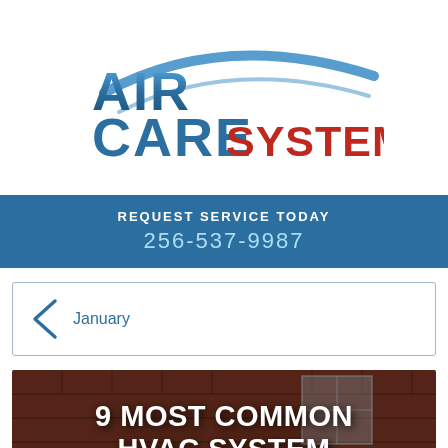[Figure (logo): Air Care Systems company logo — 'AIR' in blue metallic letters, 'CARE' in blue, 'SYSTEMS' in red, with a swooping blue/white arc graphic above]
REQUEST SERVICE TODAY
256-537-9987
January
[Figure (photo): Brick building exterior with window visible in background, overlaid with large white bold text reading '9 MOST COMMON HVAC SYSTEM PROBLEMS AND SOLUTIONS'. A red circular hamburger menu button and a blue circular accessibility icon are visible.]